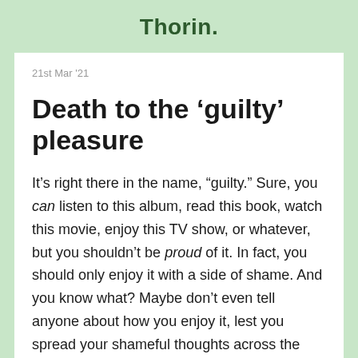Thorin.
21st Mar '21
Death to the ‘guilty’ pleasure
It’s right there in the name, “guilty.” Sure, you can listen to this album, read this book, watch this movie, enjoy this TV show, or whatever, but you shouldn’t be proud of it. In fact, you should only enjoy it with a side of shame. And you know what? Maybe don’t even tell anyone about how you enjoy it, lest you spread your shameful thoughts across the world.